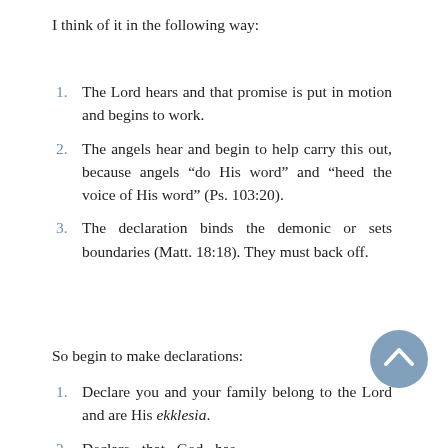I think of it in the following way:
The Lord hears and that promise is put in motion and begins to work.
The angels hear and begin to help carry this out, because angels “do His word” and “heed the voice of His word” (Ps. 103:20).
The declaration binds the demonic or sets boundaries (Matt. 18:18). They must back off.
So begin to make declarations:
Declare you and your family belong to the Lord and are His ekklesia.
Declare that God has